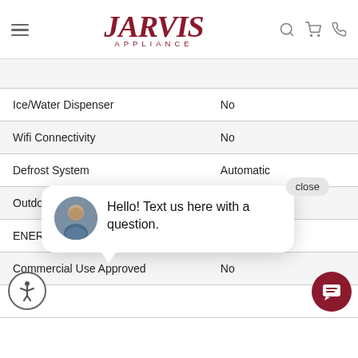JARVIS APPLIANCE
| Feature | Value |
| --- | --- |
| Ice/Water Dispenser | No |
| Wifi Connectivity | No |
| Defrost System | Automatic |
| Outdoor App[roved] |  |
| ENERGY STAR Qualified | Yes |
| Commercial Use Approved | No |
[Figure (screenshot): Chat popup overlay showing a man's photo avatar and text 'Hello! Text us here with a question.' with a close button]